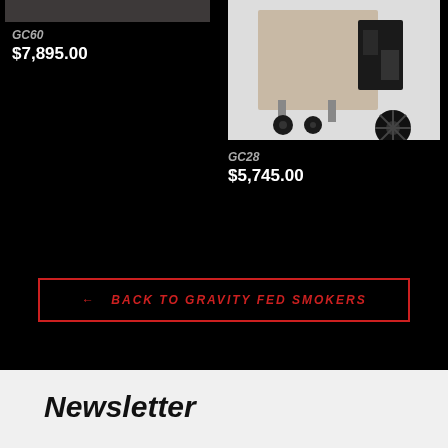[Figure (photo): Product image of GC60 smoker (partial, cropped at top)]
GC60
$7,895.00
[Figure (photo): Product image of GC28 gravity fed smoker with large wheels and firebox]
GC28
$5,745.00
← BACK TO GRAVITY FED SMOKERS
Newsletter